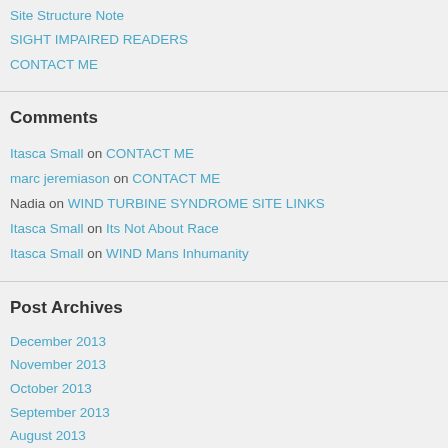Site Structure Note
SIGHT IMPAIRED READERS
CONTACT ME
Comments
Itasca Small on CONTACT ME
marc jeremiason on CONTACT ME
Nadia on WIND TURBINE SYNDROME SITE LINKS
Itasca Small on Its Not About Race
Itasca Small on WIND Mans Inhumanity
Post Archives
December 2013
November 2013
October 2013
September 2013
August 2013
July 2013
June 2013
May 2013
April 2013